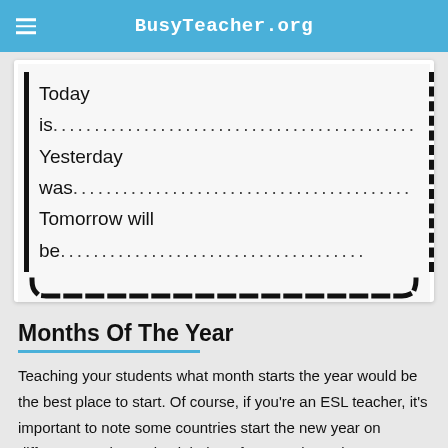BusyTeacher.org
[Figure (illustration): A worksheet card with a dashed border showing fill-in-the-blank lines: 'Today is...', 'Yesterday was...', 'Tomorrow will be...']
Months Of The Year
Teaching your students what month starts the year would be the best place to start. Of course, if you're an ESL teacher, it's important to note some countries start the new year on different months, so it might be a fun exercise to just compare.